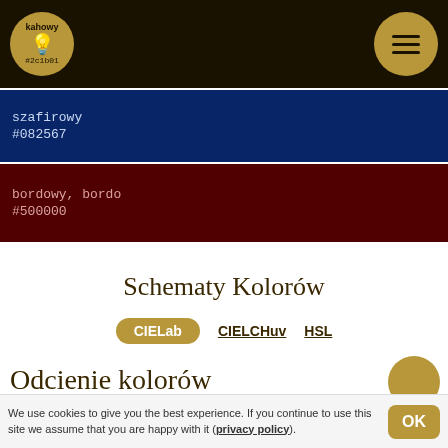kahowy #2c1b01
szafirowy
#082567
bordowy, bordo
#500000
Schematy Kolorów
CIELab  CIELCHuv  HSL
Odcienie kolorów
#faebd7 do czarnego
We use cookies to give you the best experience. If you continue to use this site we assume that you are happy with it (privacy policy).